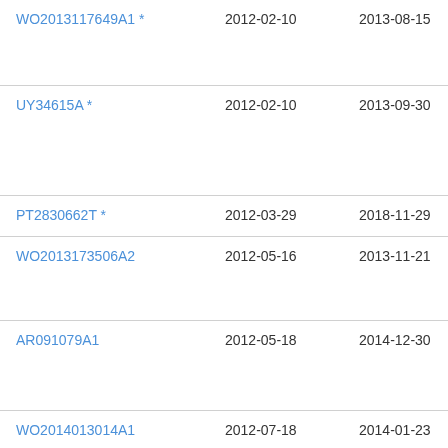| Patent | Filing Date | Publication Date | Owner |
| --- | --- | --- | --- |
| WO2013117649A1 * | 2012-02-10 | 2013-08-15 | Gal... |
| UY34615A * | 2012-02-10 | 2013-09-30 | Gal... |
| PT2830662T * | 2012-03-29 | 2018-11-29 | Uni... |
| WO2013173506A2 | 2012-05-16 | 2013-11-21 | Rig... Pha... Inc... |
| AR091079A1 | 2012-05-18 | 2014-12-30 | Inc... |
| WO2014013014A1 | 2012-07-18 | 2014-01-23 | Fur... Cer... Pa... |